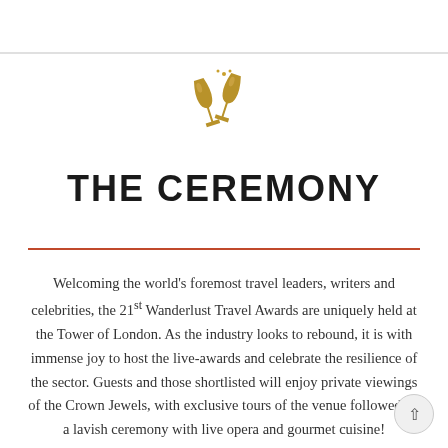[Figure (illustration): Two golden clinking wine/champagne glasses icon in gold/amber color]
THE CEREMONY
Welcoming the world's foremost travel leaders, writers and celebrities, the 21st Wanderlust Travel Awards are uniquely held at the Tower of London. As the industry looks to rebound, it is with immense joy to host the live-awards and celebrate the resilience of the sector. Guests and those shortlisted will enjoy private viewings of the Crown Jewels, with exclusive tours of the venue followed by a lavish ceremony with live opera and gourmet cuisine!